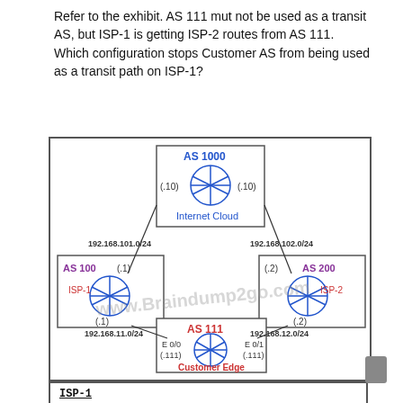Refer to the exhibit. AS 111 mut not be used as a transit AS, but ISP-1 is getting ISP-2 routes from AS 111. Which configuration stops Customer AS from being used as a transit path on ISP-1?
[Figure (network-graph): Network diagram showing AS 1000 (Internet Cloud) at top with router (.10) on each side. AS 100 (ISP-1) on lower left with router (.1), connected via 192.168.101.0/24 to AS 1000 and 192.168.11.0/24 to AS 111. AS 200 (ISP-2) on lower right with router (.2), connected via 192.168.102.0/24 to AS 1000 and 192.168.12.0/24 to AS 111. AS 111 (Customer Edge) at bottom with E 0/0 (.111) and E 0/1 (.111).]
ISP-1

ip as-path access-list 1 permit ^111
!